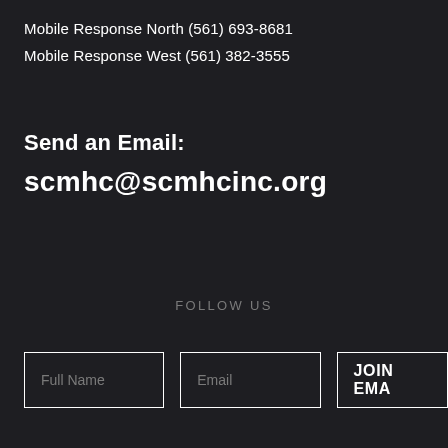Mobile Response North (561) 693-8681
Mobile Response West (561) 382-3555
Send an Email:
scmhc@scmhcinc.org
FOLLOW US
Full Name   Email   JOIN EMA...